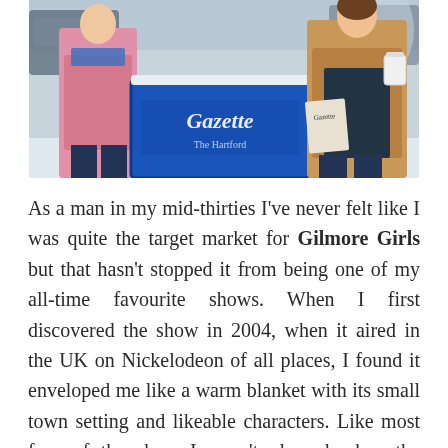[Figure (photo): Two women standing outdoors in snow near a blue Gazette newspaper stand. Left person wears a pink coat, right person wears a camel coat and holds a coffee cup and newspaper. Snowy winter scene.]
As a man in my mid-thirties I've never felt like I was quite the target market for Gilmore Girls but that hasn't stopped it from being one of my all-time favourite shows. When I first discovered the show in 2004, when it aired in the UK on Nickelodeon of all places, I found it enveloped me like a warm blanket with its small town setting and likeable characters. Like most fans of the show I wasn't pleased when the show's creator Amy Sherman-Palladino exited before the final season. This meant that Gilmore Girls lost its unique voice and the final season saw all of the characters going through the motions